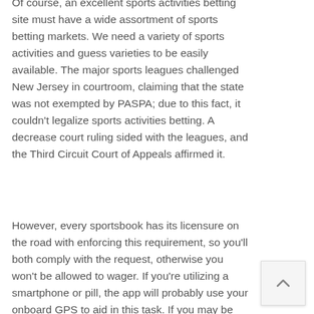Of course, an excellent sports activities betting site must have a wide assortment of sports betting markets. We need a variety of sports activities and guess varieties to be easily available. The major sports leagues challenged New Jersey in courtroom, claiming that the state was not exempted by PASPA; due to this fact, it couldn't legalize sports activities betting. A decrease court ruling sided with the leagues, and the Third Circuit Court of Appeals affirmed it.
However, every sportsbook has its licensure on the road with enforcing this requirement, so you'll both comply with the request, otherwise you won't be allowed to wager. If you're utilizing a smartphone or pill, the app will probably use your onboard GPS to aid in this task. If you may be using a computer,